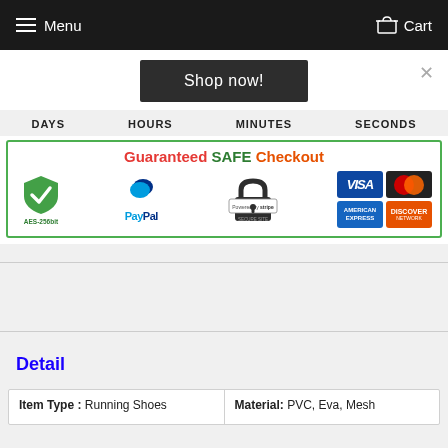Menu  Cart
Shop now!
DAYS  HOURS  MINUTES  SECONDS
[Figure (infographic): Guaranteed SAFE Checkout banner with green border showing AES-256bit shield, PayPal logo, Powered by stripe secure site lock, VISA, MasterCard, American Express, and Discover Network payment logos]
Detail
| Item Type | Material |
| --- | --- |
| Running Shoes | PVC, Eva, Mesh |